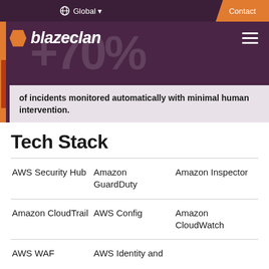Global | Contact
[Figure (logo): Blazeclan logo with orange diamond shape and italic bold white text on dark purple background. Large faded 70% text overlay.]
of incidents monitored automatically with minimal human intervention.
Tech Stack
| Col1 | Col2 | Col3 |
| --- | --- | --- |
| AWS Security Hub | Amazon GuardDuty | Amazon Inspector |
| Amazon CloudTrail | AWS Config | Amazon CloudWatch |
| AWS WAF | AWS Identity and |  |